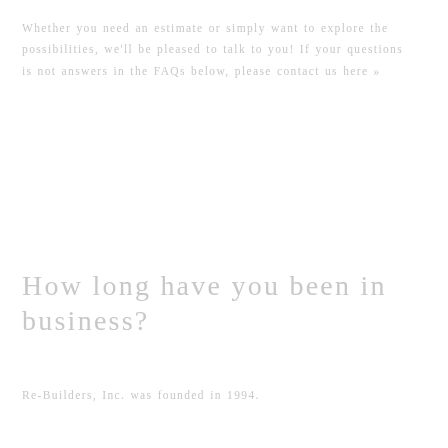Whether you need an estimate or simply want to explore the possibilities, we'll be pleased to talk to you! If your questions is not answers in the FAQs below, please contact us here »
How long have you been in business?
Re-Builders, Inc. was founded in 1994.